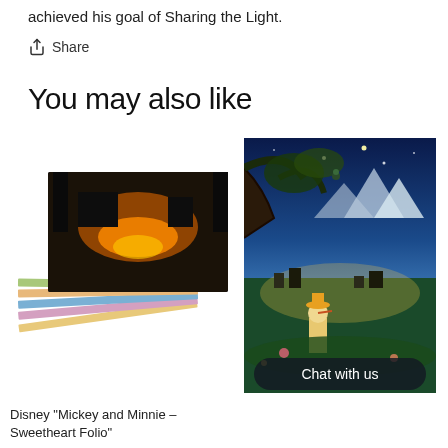achieved his goal of Sharing the Light.
Share
You may also like
[Figure (photo): Stack of Disney Mickey and Minnie Sweetheart Folio art prints fanned out]
[Figure (photo): Canvas wrap of Pinocchio Disney painting showing Pinocchio and Jiminy Cricket overlooking a village at night with mountains in background, with Chat with us overlay button]
Disney "Mickey and Minnie – Sweetheart Folio"